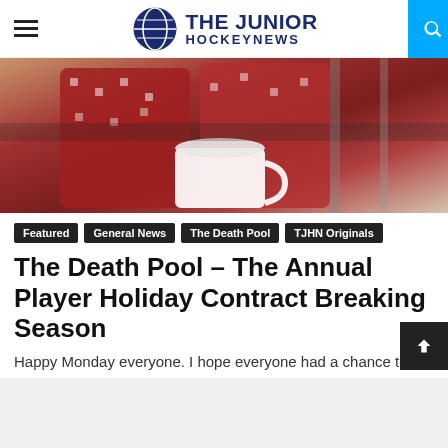THE JUNIOR HOCKEYNEWS
[Figure (photo): Holiday-themed photo showing red Christmas sweaters with reindeer pattern and a white mug, warm tones]
Featured
General News
The Death Pool
TJHN Originals
The Death Pool – The Annual Player Holiday Contract Breaking Season
Happy Monday everyone. I hope everyone had a chance to enjoy their Thanksgiving holiday in the States last week. It's at this time of year...